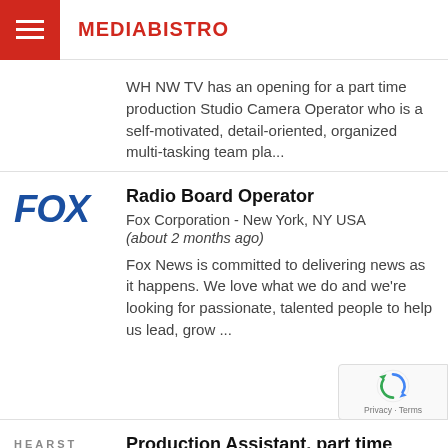MEDIABISTRO
WH NW TV has an opening for a part time production Studio Camera Operator who is a self-motivated, detail-oriented, organized multi-tasking team pla...
Radio Board Operator
Fox Corporation - New York, NY USA
(about 2 months ago)
Fox News is committed to delivering news as it happens. We love what we do and we're looking for passionate, talented people to help us lead, grow ...
Production Assistant, part time